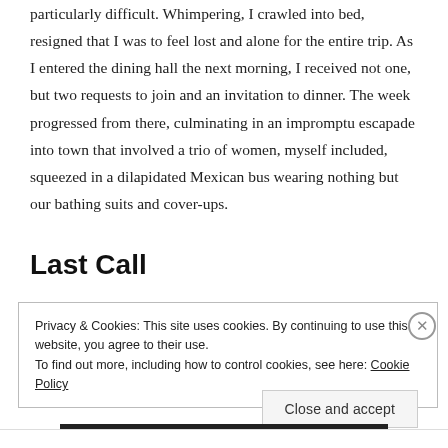particularly difficult. Whimpering, I crawled into bed, resigned that I was to feel lost and alone for the entire trip. As I entered the dining hall the next morning, I received not one, but two requests to join and an invitation to dinner. The week progressed from there, culminating in an impromptu escapade into town that involved a trio of women, myself included, squeezed in a dilapidated Mexican bus wearing nothing but our bathing suits and cover-ups.
Last Call
Privacy & Cookies: This site uses cookies. By continuing to use this website, you agree to their use.
To find out more, including how to control cookies, see here: Cookie Policy
Close and accept